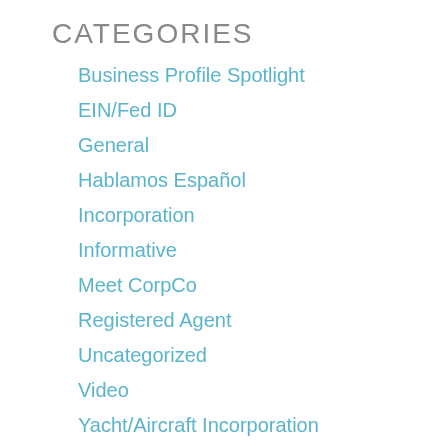CATEGORIES
Business Profile Spotlight
EIN/Fed ID
General
Hablamos Español
Incorporation
Informative
Meet CorpCo
Registered Agent
Uncategorized
Video
Yacht/Aircraft Incorporation